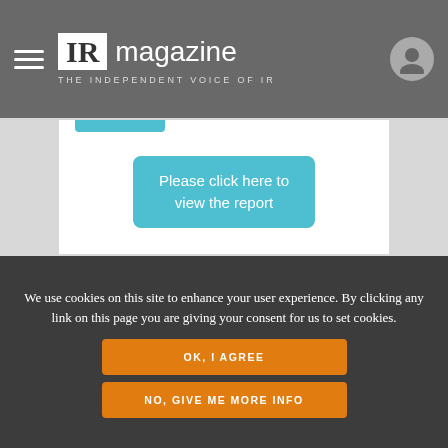IR magazine – THE INDEPENDENT VOICE OF IR
[Figure (screenshot): Partial view of a report page with a teal 'Please click here to view the report' button on a white background panel]
We use cookies on this site to enhance your user experience. By clicking any link on this page you are giving your consent for us to set cookies.
OK, I AGREE
NO, GIVE ME MORE INFO